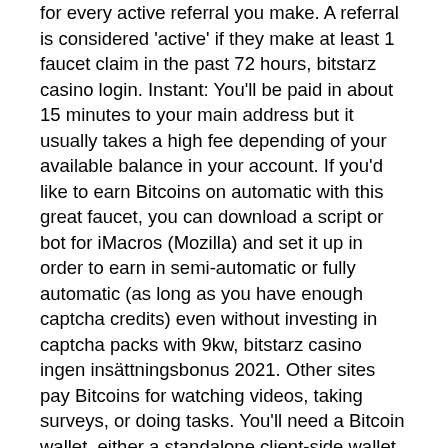for every active referral you make. A referral is considered 'active' if they make at least 1 faucet claim in the past 72 hours, bitstarz casino login. Instant: You'll be paid in about 15 minutes to your main address but it usually takes a high fee depending of your available balance in your account. If you'd like to earn Bitcoins on automatic with this great faucet, you can download a script or bot for iMacros (Mozilla) and set it up in order to earn in semi-automatic or fully automatic (as long as you have enough captcha credits) even without investing in captcha packs with 9kw, bitstarz casino ingen insättningsbonus 2021. Other sites pay Bitcoins for watching videos, taking surveys, or doing tasks. You'll need a Bitcoin wallet, either a standalone client-side wallet or a cloud-based wallet like Blockchain, bitstarz casino askgamblers. Begging/asking for bitcoins is absolutely not allowed, no matter how badly you need the bitcoins,